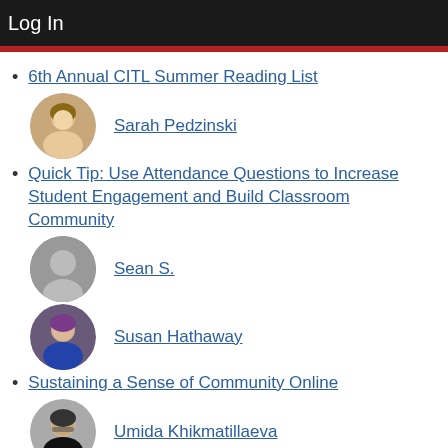Log In
6th Annual CITL Summer Reading List
Sarah Pedzinski
Quick Tip: Use Attendance Questions to Increase Student Engagement and Build Classroom Community
Sean S.
Susan Hathaway
Sustaining a Sense of Community Online
Umida Khikmatillaeva
Say It Right with NameCoach: Pronouncing Student Names
yacruzri